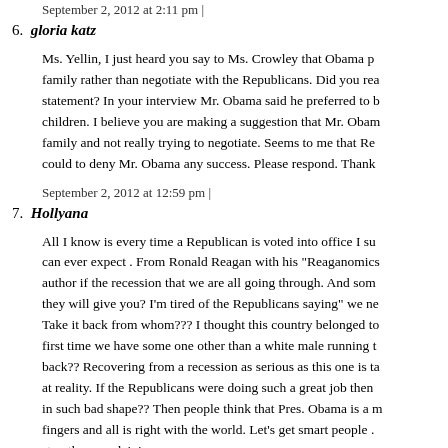September 2, 2012 at 2:11 pm |
6. gloria katz
Ms. Yellin, I just heard you say to Ms. Crowley that Obama p… family rather than negotiate with the Republicans. Did you rea… statement? In your interview Mr. Obama said he preferred to b… children. I believe you are making a suggestion that Mr. Obam… family and not really trying to negotiate. Seems to me that Re… could to deny Mr. Obama any success. Please respond. Thank
September 2, 2012 at 12:59 pm |
7. Hollyana
All I know is every time a Republican is voted into office I su… can ever expect . From Ronald Reagan with his "Reaganomics… author if the recession that we are all going through. And som… they will give you? I'm tired of the Republicans saying" we ne… Take it back from whom??? I thought this country belonged to… first time we have some one other than a white male running t… back?? Recovering from a recession as serious as this one is ta… at reality. If the Republicans were doing such a great job then… in such bad shape?? Then people think that Pres. Obama is a m… fingers and all is right with the world. Let's get smart people .… stop the complaining.
September 2, 2012 at 2:51 pm |